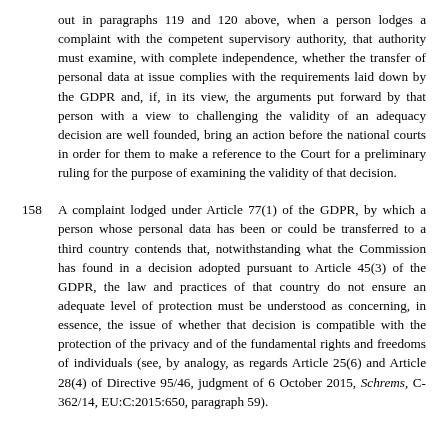out in paragraphs 119 and 120 above, when a person lodges a complaint with the competent supervisory authority, that authority must examine, with complete independence, whether the transfer of personal data at issue complies with the requirements laid down by the GDPR and, if, in its view, the arguments put forward by that person with a view to challenging the validity of an adequacy decision are well founded, bring an action before the national courts in order for them to make a reference to the Court for a preliminary ruling for the purpose of examining the validity of that decision.
158   A complaint lodged under Article 77(1) of the GDPR, by which a person whose personal data has been or could be transferred to a third country contends that, notwithstanding what the Commission has found in a decision adopted pursuant to Article 45(3) of the GDPR, the law and practices of that country do not ensure an adequate level of protection must be understood as concerning, in essence, the issue of whether that decision is compatible with the protection of the privacy and of the fundamental rights and freedoms of individuals (see, by analogy, as regards Article 25(6) and Article 28(4) of Directive 95/46, judgment of 6 October 2015, Schrems, C-362/14, EU:C:2015:650, paragraph 59).